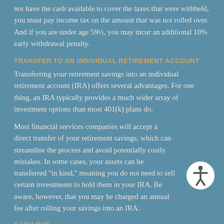not have the cash available to cover the taxes that were withheld, you must pay income tax on the amount that was not rolled over. And if you are under age 59½, you may incur an additional 10% early withdrawal penalty.
TRANSFER TO AN INDIVIDUAL RETIREMENT ACCOUNT
Transferring your retirement savings into an individual retirement account (IRA) offers several advantages. For one thing, an IRA typically provides a much wider array of investment options than most 401(k) plans do.
Most financial services companies will accept a direct transfer of your retirement savings, which can streamline the process and avoid potentially costly mistakes. In some cases, your assets can be transferred "in kind," meaning you do not need to sell certain investments to hold them in your IRA. Be aware, however, that you may be charged an annual fee after rolling your savings into an IRA.
CASH OUT
Unless you need the money to pay bills, consider the tax consequences before choosing this option.